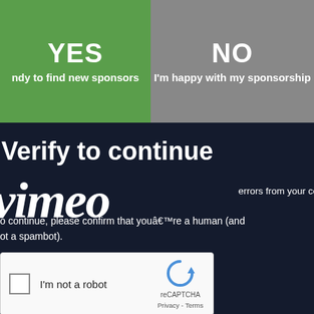[Figure (screenshot): YES button - green background with white bold text 'YES' and subtext 'ndy to find new sponsors']
[Figure (screenshot): NO button - gray background with white bold text 'NO' and subtext 'I'm happy with my sponsorship']
Verify to continue
vimeo
errors from your connection. To continue, please confirm that youâre a human (and not a spambot).
[Figure (screenshot): reCAPTCHA widget with checkbox 'I'm not a robot' and reCAPTCHA logo with Privacy - Terms links]